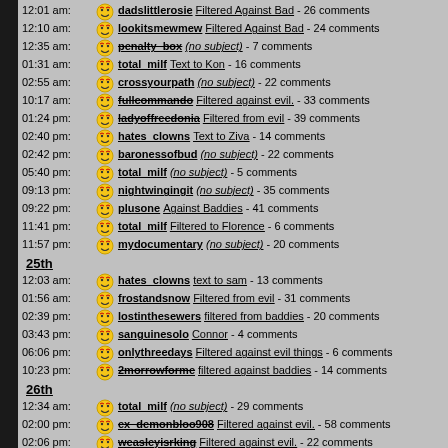12:01 am: dadslittlerosie Filtered Against Bad - 26 comments
12:10 am: lookitsmewmew Filtered Against Bad - 24 comments
12:35 am: penalty_box (no subject) - 7 comments
01:31 am: total_milf Text to Kon - 16 comments
02:55 am: crossyourpath (no subject) - 22 comments
10:17 am: fullcommando Filtered against evil. - 33 comments
01:24 pm: ladyoffreedonia Filtered from evil - 39 comments
02:40 pm: hates_clowns Text to Ziva - 14 comments
02:42 pm: baronessofbud (no subject) - 22 comments
05:40 pm: total_milf (no subject) - 5 comments
09:13 pm: nightwingingit (no subject) - 35 comments
09:22 pm: plusone Against Baddies - 41 comments
11:41 pm: total_milf Filtered to Florence - 6 comments
11:57 pm: mydocumentary (no subject) - 20 comments
25th
12:03 am: hates_clowns text to sam - 13 comments
01:56 am: frostandsnow Filtered from evil - 31 comments
02:39 pm: lostinthesewers filtered from baddies - 20 comments
03:43 pm: sanguinesolo Connor - 4 comments
06:06 pm: onlythreedays Filtered against evil things - 6 comments
10:23 pm: 2morrowforme filtered against baddies - 14 comments
26th
12:34 am: total_milf (no subject) - 29 comments
02:00 pm: ex_demonbloo908 Filtered against evil. - 58 comments
02:06 pm: weasleyisrking Filtered against evil. - 22 comments
05:48 pm: notthemajor Filtered against evil - 22 comments
06:30 pm: zeppelinrulez Filtered Against Evil (Evil Bitches) - 82